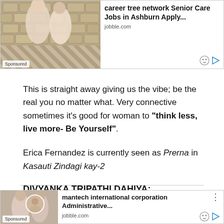[Figure (screenshot): Advertisement banner for career tree network Senior Care Jobs in Ashburn, showing two women and stone pavement background, sponsored label, jobble.com source]
This is straight away giving us the vibe; be the real you no matter what. Very connective sometimes it's good for woman to "think less, live more- Be Yourself".
Erica Fernandez is currently seen as Prerna in Kasauti Zindagi kay-2
DIVYANKA TRIPATHI DAHIYA:
[Figure (screenshot): Advertisement banner for mantech international corporation Administrative job, showing women in office setting, sponsored label, jobble.com source]